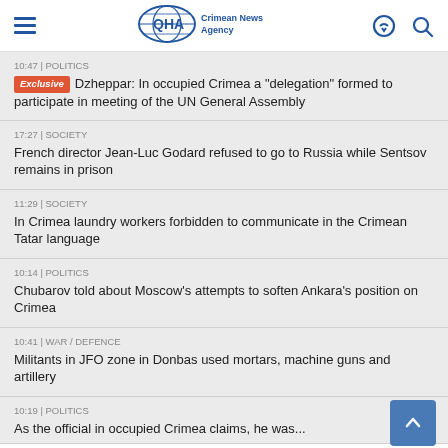QHA Crimean News Agency
10:47 | POLITICS
Exclusive Dzheppar: In occupied Crimea a "delegation" formed to participate in meeting of the UN General Assembly
17:27 | SOCIETY
French director Jean-Luc Godard refused to go to Russia while Sentsov remains in prison
11:29 | SOCIETY
In Crimea laundry workers forbidden to communicate in the Crimean Tatar language
10:14 | POLITICS
Chubarov told about Moscow's attempts to soften Ankara's position on Crimea
10:41 | WAR / DEFENCE
Militants in JFO zone in Donbas used mortars, machine guns and artillery
10:19 | POLITICS
As the official in occupied Crimea claims, he was...